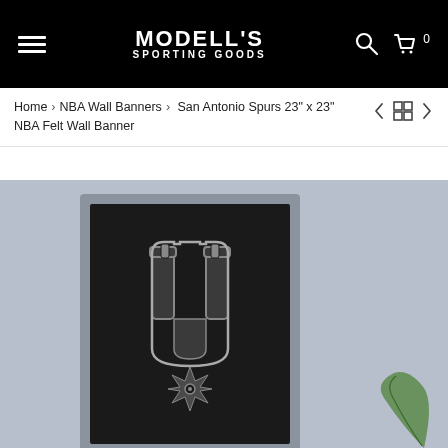MODELL'S SPORTING GOODS
Home > NBA Wall Banners > San Antonio Spurs 23" x 23" NBA Felt Wall Banner
[Figure (photo): San Antonio Spurs 23x23 NBA Felt Wall Banner product photo showing the Spurs logo on a black felt banner with silver border, set against a blue-grey background]